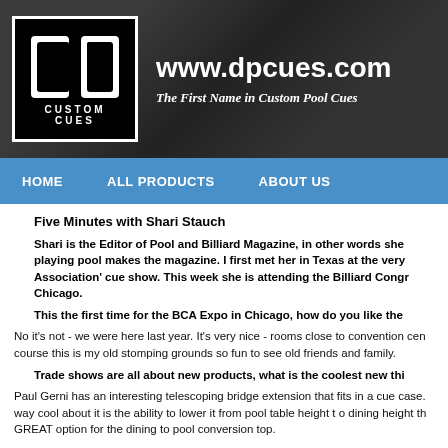[Figure (logo): DP Custom Cues logo — white block letters 'dp' and 'CUSTOM CUES' on black background with white border]
www.dpcues.com — The First Name in Custom Pool Cues
HOME    ALL PRODUCTS    ABOUT US
Five Minutes with Shari Stauch
Shari is the Editor of Pool and Billiard Magazine, in other words she playing pool makes the magazine. I first met her in Texas at the very Association' cue show. This week she is attending the Billiard Congr Chicago.
This the first time for the BCA Expo in Chicago, how do you like the
No it's not - we were here last year. It's very nice - rooms close to convention center course this is my old stomping grounds so fun to see old friends and family.
Trade shows are all about new products, what is the coolest new thi
Paul Gerni has an interesting telescoping bridge extension that fits in a cue case. way cool about it is the ability to lower it from pool table height t o dining height th GREAT option for the dining to pool conversion top.
There are a lot great cue and table makers in the Chicago area, have people even if they aren't displaying at the Expo?